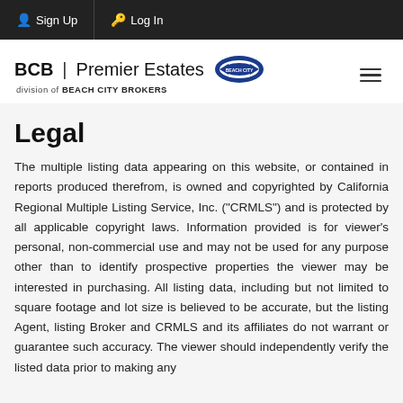Sign Up  Log In
[Figure (logo): BCB | Premier Estates logo with Beach City Brokers badge]
Legal
The multiple listing data appearing on this website, or contained in reports produced therefrom, is owned and copyrighted by California Regional Multiple Listing Service, Inc. ("CRMLS") and is protected by all applicable copyright laws. Information provided is for viewer's personal, non-commercial use and may not be used for any purpose other than to identify prospective properties the viewer may be interested in purchasing. All listing data, including but not limited to square footage and lot size is believed to be accurate, but the listing Agent, listing Broker and CRMLS and its affiliates do not warrant or guarantee such accuracy. The viewer should independently verify the listed data prior to making any